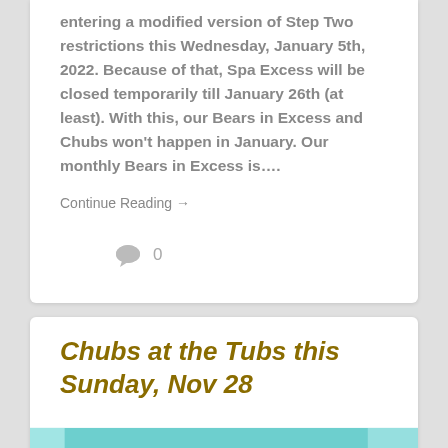entering a modified version of Step Two restrictions this Wednesday, January 5th, 2022. Because of that, Spa Excess will be closed temporarily till January 26th (at least). With this, our Bears in Excess and Chubs won't happen in January. Our monthly Bears in Excess is….
Continue Reading →
0
Chubs at the Tubs this Sunday, Nov 28
[Figure (illustration): Cartoon illustration of two large male figures in a spa/tub setting with teal/turquoise background elements]